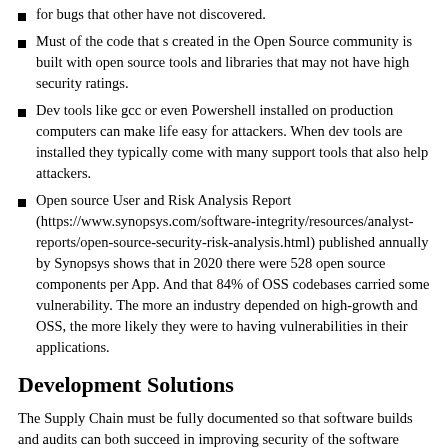for bugs that other have not discovered.
Must of the code that s created in the Open Source community is built with open source tools and libraries that may not have high security ratings.
Dev tools like gcc or even Powershell installed on production computers can make life easy for attackers. When dev tools are installed they typically come with many support tools that also help attackers.
Open source User and Risk Analysis Report (https://www.synopsys.com/software-integrity/resources/analyst-reports/open-source-security-risk-analysis.html) published annually by Synopsys shows that in 2020 there were 528 open source components per App. And that 84% of OSS codebases carried some vulnerability. The more an industry depended on high-growth and OSS, the more likely they were to having vulnerabilities in their applications.
Development Solutions
The Supply Chain must be fully documented so that software builds and audits can both succeed in improving security of the software packing to be delivered to the production machine.
Make itself is fine. make is merely a dependency tracking and automation framework. It intrinsically provides integration with